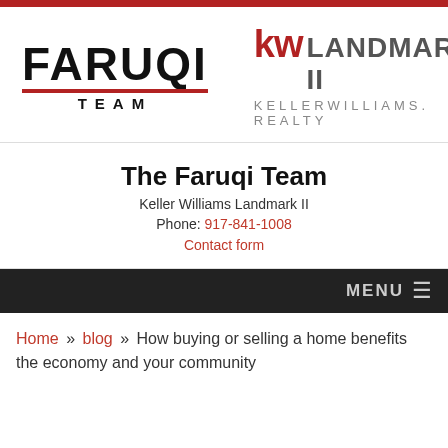[Figure (logo): Faruqi Team logo with Keller Williams Landmark II branding]
The Faruqi Team
Keller Williams Landmark II
Phone: 917-841-1008
Contact form
MENU
Home » blog » How buying or selling a home benefits the economy and your community